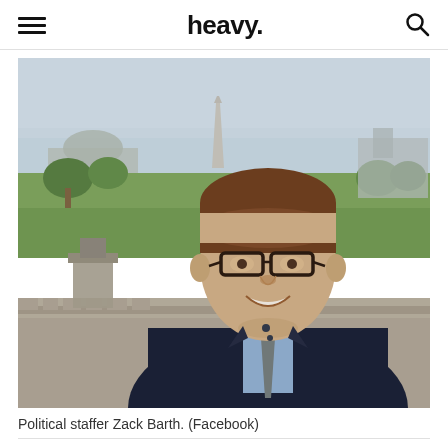heavy.
[Figure (photo): Young man with glasses smiling in front of the Washington D.C. National Mall skyline, including the Washington Monument in the background. He is wearing a dark suit jacket with a light blue collared shirt and a grey tie. The photo is taken from an elevated vantage point, likely the steps of the U.S. Capitol.]
Political staffer Zack Barth. (Facebook)